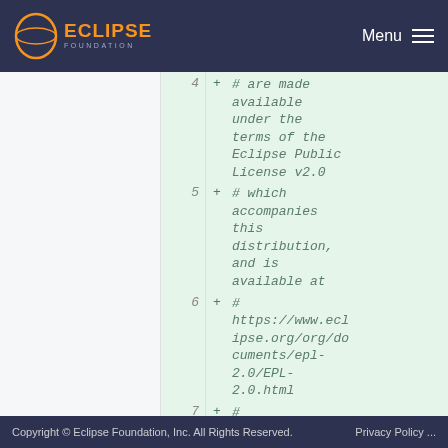ECLIPSE FOUNDATION | Menu
[Figure (screenshot): Code diff view showing added lines 4-7 with Eclipse Foundation license header comments]
Copyright © Eclipse Foundation, Inc. All Rights Reserved.  Privacy Policy ...